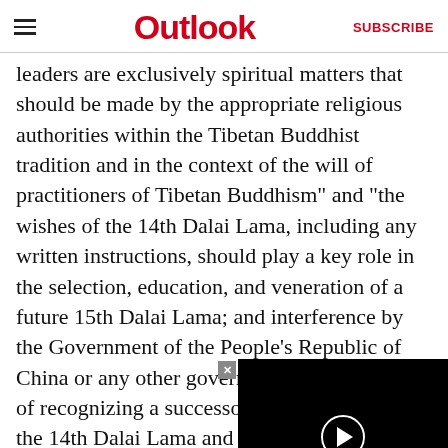≡  Outlook  SUBSCRIBE
leaders are exclusively spiritual matters that should be made by the appropriate religious authorities within the Tibetan Buddhist tradition and in the context of the will of practitioners of Tibetan Buddhism" and "the wishes of the 14th Dalai Lama, including any written instructions, should play a key role in the selection, education, and veneration of a future 15th Dalai Lama; and interference by the Government of the People's Republic of China or any other government in the process of recognizing a successor or reincarnation of the 14th Dalai Lama and any would represent a clear a religious freedom of Tibe
The act further stated tha any Chinese's officia